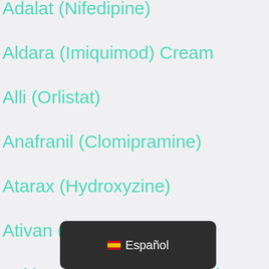Adalat (Nifedipine)
Aldara (Imiquimod) Cream
Alli (Orlistat)
Anafranil (Clomipramine)
Atarax (Hydroxyzine)
Ativan (Lorazepam)
Azithromycin Antibiotic
[Figure (screenshot): Browser language selector overlay showing Spanish flag emoji and 'Español' text on dark rounded rectangle background]